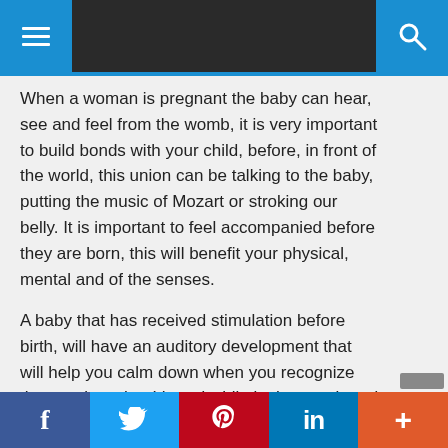Navigation bar with menu and search icons
When a woman is pregnant the baby can hear, see and feel from the womb, it is very important to build bonds with your child, before, in front of the world, this union can be talking to the baby, putting the music of Mozart or stroking our belly. It is important to feel accompanied before they are born, this will benefit your physical, mental and of the senses.
A baby that has received stimulation before birth, will have an auditory development that will help you calm down when you recognize those voices that I heard while in the womb and in addition, be more loving.“The stimulation also contributes to
f  Twitter  Pinterest  in  +